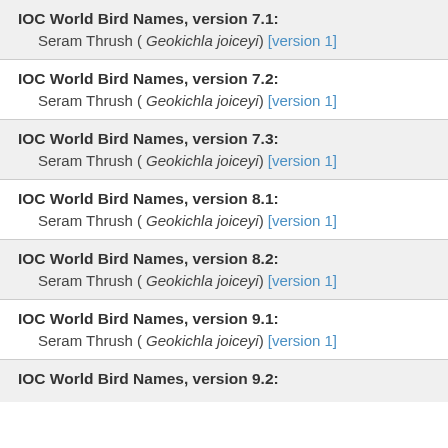IOC World Bird Names, version 7.1:
Seram Thrush ( Geokichla joiceyi) [version 1]
IOC World Bird Names, version 7.2:
Seram Thrush ( Geokichla joiceyi) [version 1]
IOC World Bird Names, version 7.3:
Seram Thrush ( Geokichla joiceyi) [version 1]
IOC World Bird Names, version 8.1:
Seram Thrush ( Geokichla joiceyi) [version 1]
IOC World Bird Names, version 8.2:
Seram Thrush ( Geokichla joiceyi) [version 1]
IOC World Bird Names, version 9.1:
Seram Thrush ( Geokichla joiceyi) [version 1]
IOC World Bird Names, version 9.2: